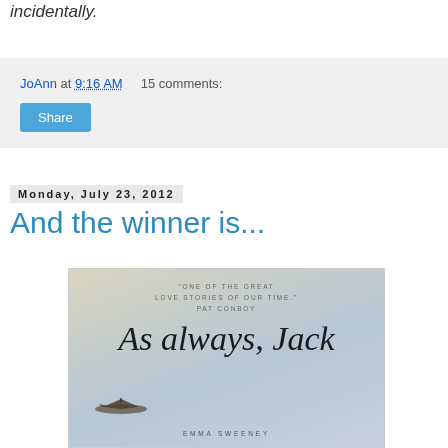incidentally.
JoAnn at 9:16 AM    15 comments:
Share
Monday, July 23, 2012
And the winner is...
[Figure (photo): Book cover of 'As always, Jack' by Emma Sweeney with quote 'One of the great love stories of our time.' - Pat Conboy, featuring a vintage airplane in a misty sky]